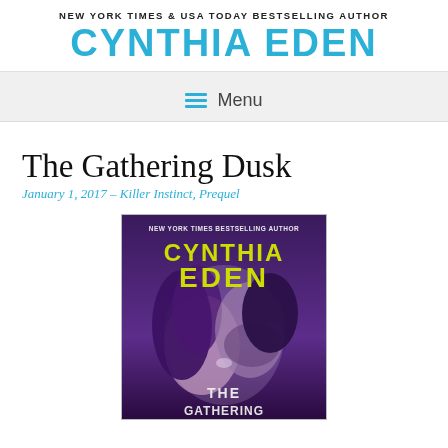NEW YORK TIMES & USA TODAY BESTSELLING AUTHOR
CYNTHIA EDEN
Menu
The Gathering Dusk
January 1, 2017 – Killer Instinct, Prequel
[Figure (illustration): Book cover for 'The Gathering Dusk' by Cynthia Eden — shows a couple about to kiss in purple tones, with yellow/green bold text 'CYNTHIA EDEN' and subtitle 'THE GATHERING...' at bottom. NEW YORK TIMES BESTSELLING AUTHOR text at top.]